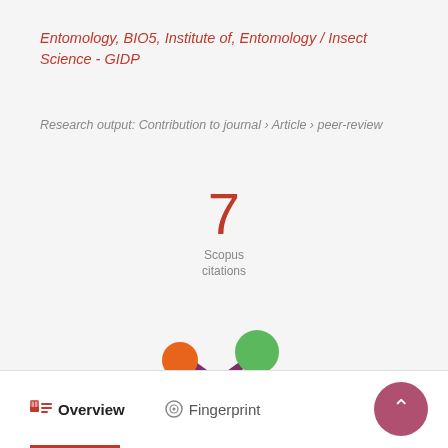Entomology, BIO5, Institute of, Entomology / Insect Science - GIDP
Research output: Contribution to journal › Article › peer-review
[Figure (infographic): Large red numeral '7' with 'Scopus citations' label beneath it]
[Figure (logo): Altmetric donut-style logo with orange, green, and purple circles on a purple splat shape]
Overview   Fingerprint